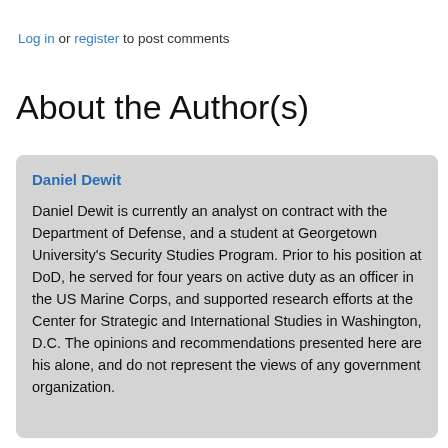Log in or register to post comments
About the Author(s)
Daniel Dewit
Daniel Dewit is currently an analyst on contract with the Department of Defense, and a student at Georgetown University's Security Studies Program. Prior to his position at DoD, he served for four years on active duty as an officer in the US Marine Corps, and supported research efforts at the Center for Strategic and International Studies in Washington, D.C. The opinions and recommendations presented here are his alone, and do not represent the views of any government organization.